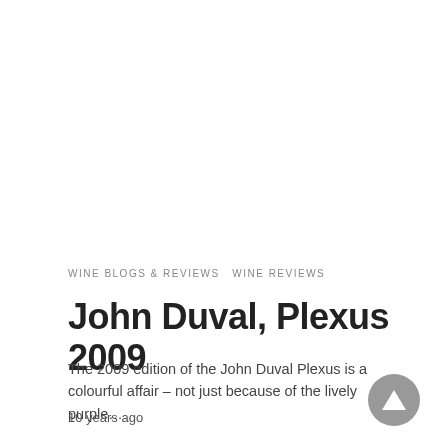WINE BLOGS & REVIEWS   WINE REVIEWS
John Duval, Plexus 2009
The 2009 edition of the John Duval Plexus is a colourful affair – not just because of the lively purple…
10 years ago